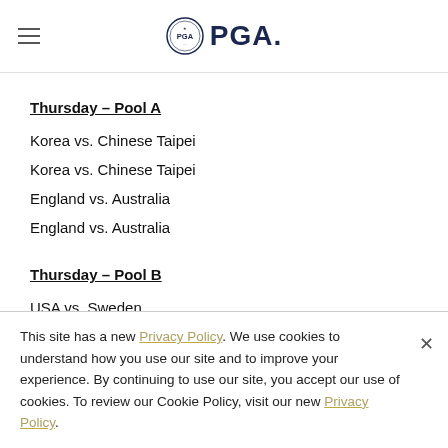PGA
Thursday – Pool A
Korea vs. Chinese Taipei
Korea vs. Chinese Taipei
England vs. Australia
England vs. Australia
Thursday – Pool B
USA vs. Sweden
This site has a new Privacy Policy. We use cookies to understand how you use our site and to improve your experience. By continuing to use our site, you accept our use of cookies. To review our Cookie Policy, visit our new Privacy Policy.